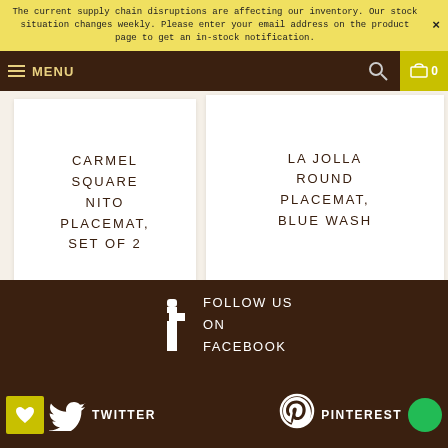The current supply chain disruptions are affecting our inventory. Our stock situation changes weekly. Please enter your email address on the product page to get an in-stock notification.
MENU
[Figure (logo): KOUBOO logo with trademark symbol]
CARMEL SQUARE NITO PLACEMAT, SET OF 2
LA JOLLA ROUND PLACEMAT, BLUE WASH
FOLLOW US ON FACEBOOK
TWITTER
PINTEREST